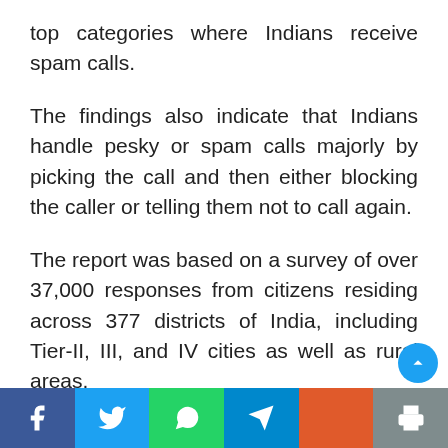top categories where Indians receive spam calls.
The findings also indicate that Indians handle pesky or spam calls majorly by picking the call and then either blocking the caller or telling them not to call again.
The report was based on a survey of over 37,000 responses from citizens residing across 377 districts of India, including Tier-II, III, and IV cities as well as rural areas.
Reporting these findings to the TRAI, LocalCircles called for a strong need to
Social share bar: Facebook, Twitter, WhatsApp, Telegram, Plus, Print